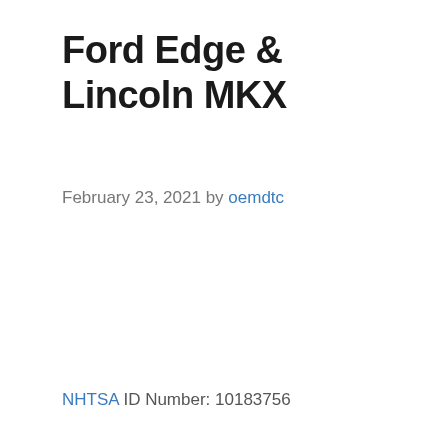Ford Edge & Lincoln MKX
February 23, 2021 by oemdtc
NHTSA ID Number: 10183756